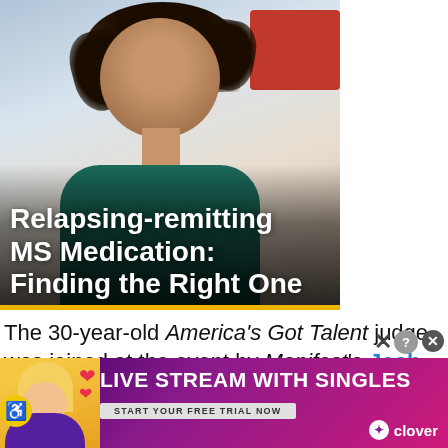[Figure (photo): A smiling woman with curly hair, appearing to be a healthcare professional wearing a teal/green top, with a red background element. Text overlay reads 'Relapsing-remitting MS Medication: Finding the Right One' with a yellow stripe at the bottom.]
Relapsing-remitting MS Medication: Finding the Right One
The 30-year-old America's Got Talent judge was joined at the event by Manifest's Josh Dallas and Melissa Roxburgh, New Amsterdam's an Eggold, Janet Montgomery, Margot
[Figure (advertisement): Ad banner with purple/pink gradient background. Shows a blonde woman with pink hearts. Text reads 'LIVE STREAM WITH SINGLES', 'START YOUR FREE TRIAL NOW', Clover logo.]